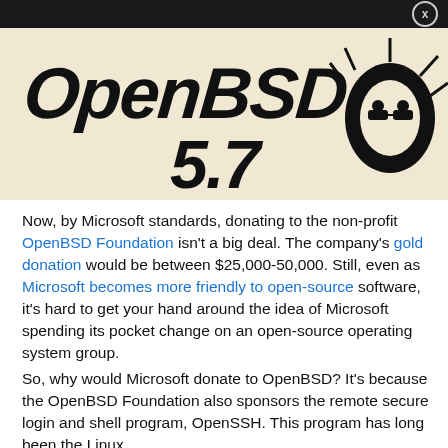[Figure (illustration): OpenBSD 5.7 logo artwork: black stylized graffiti-style text 'OpenBSD 5.7' with a cartoon blowfish character on a beige/cream background]
Now, by Microsoft standards, donating to the non-profit OpenBSD Foundation isn't a big deal. The company's gold donation would be between $25,000-50,000. Still, even as Microsoft becomes more friendly to open-source software, it's hard to get your hand around the idea of Microsoft spending its pocket change on an open-source operating system group.
So, why would Microsoft donate to OpenBSD? It's because the OpenBSD Foundation also sponsors the remote secure login and shell program, OpenSSH. This program has long been the Linux...